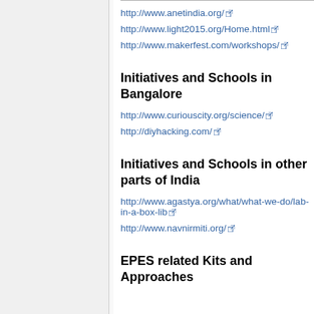http://www.anetindia.org/
http://www.light2015.org/Home.html
http://www.makerfest.com/workshops/
Initiatives and Schools in Bangalore
http://www.curiouscity.org/science/
http://diyhacking.com/
Initiatives and Schools in other parts of India
http://www.agastya.org/what/what-we-do/lab-in-a-box-lib
http://www.navnirmiti.org/
EPES related Kits and Approaches